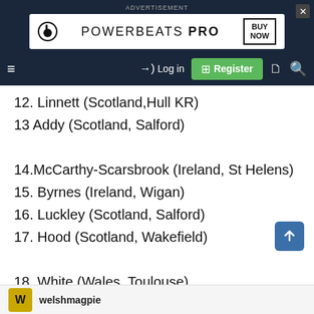[Figure (screenshot): Advertisement banner for Powerbeats Pro with Beats logo and BUY NOW box on dark navy background]
Navigation bar with hamburger menu, Log in link, Register button, and search/document icons
12. Linnett (Scotland,Hull KR)
13 Addy (Scotland, Salford)
14.McCarthy-Scarsbrook (Ireland, St Helens)
15. Byrnes (Ireland, Wigan)
16. Luckley (Scotland, Salford)
17. Hood (Scotland, Wakefield)
18. White (Wales, Toulouse)
19. Longstaff (Scotland, Warrington)
20. G.king (Ireland, Hull KR)
welshmaqpie